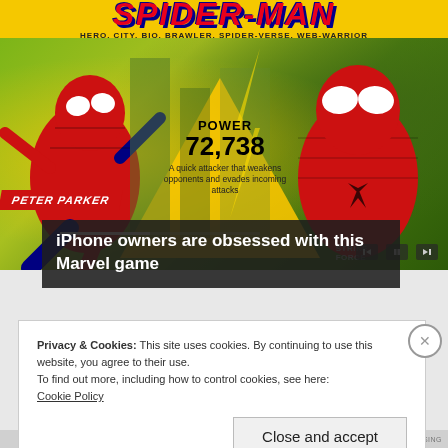[Figure (screenshot): Spider-Man Marvel Strike Force game advertisement banner showing two Spider-Man characters (animated and live-action) with yellow background, Peter Parker badge, POWER 72,738 stat, and media playback controls]
iPhone owners are obsessed with this Marvel game
Privacy & Cookies: This site uses cookies. By continuing to use this website, you agree to their use.
To find out more, including how to control cookies, see here:
Cookie Policy
Close and accept